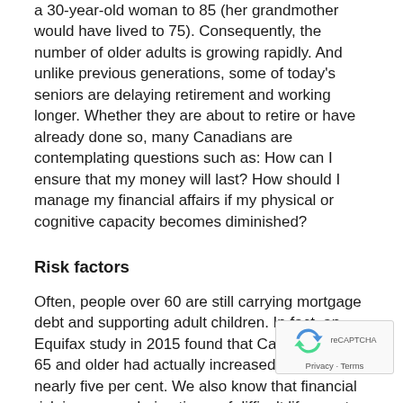a 30-year-old woman to 85 (her grandmother would have lived to 75). Consequently, the number of older adults is growing rapidly. And unlike previous generations, some of today’s seniors are delaying retirement and working longer. Whether they are about to retire or have already done so, many Canadians are contemplating questions such as: How can I ensure that my money will last? How should I manage my financial affairs if my physical or cognitive capacity becomes diminished?
Risk factors
Often, people over 60 are still carrying mortgage debt and supporting adult children. In fact, an Equifax study in 2015 found that Canadians aged 65 and older had actually increased their debt by nearly five per cent. We also know that financial risk increases during times of difficult life events that may occur in these years, such as living with illness or disability, losing a spouse or partner or caring for a loved one.